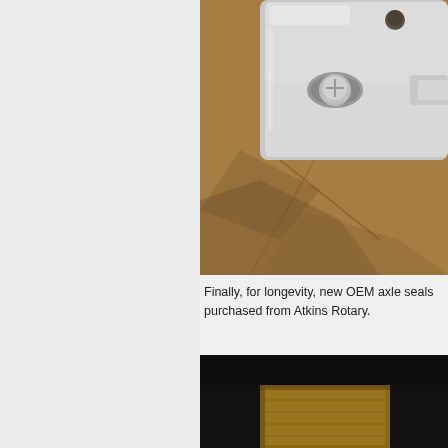[Figure (photo): Close-up photo of a metallic bracket or latch component with bolts, placed on brown kraft paper background]
Finally, for longevity, new OEM axle seals purchased from Atkins Rotary.
[Figure (photo): Partial photo showing what appears to be a wooden or mechanical component against a dark background]